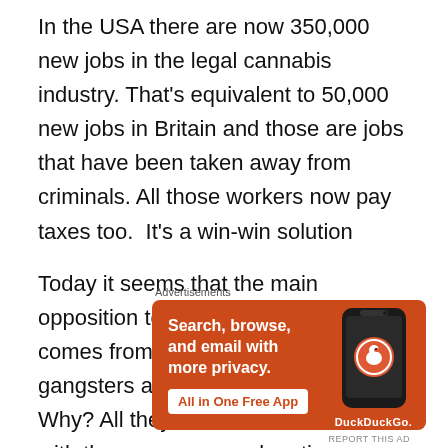In the USA there are now 350,000 new jobs in the legal cannabis industry. That's equivalent to 50,000 new jobs in Britain and those are jobs that have been taken away from criminals. All those workers now pay taxes too.  It's a win-win solution
Today it seems that the main opposition to legalising cannabis comes from the organised crime gangsters and from our politicians. Why? All they ever do is come out with the same non-explanations as Boris Johnson has. They don't seem to want to discuss the subject at all and most of them, including Boris, have said they have used
Advertisements
[Figure (infographic): DuckDuckGo advertisement banner with orange background. Text reads: Search, browse, and email with more privacy. All in One Free App. Shows a smartphone with DuckDuckGo logo and brand name.]